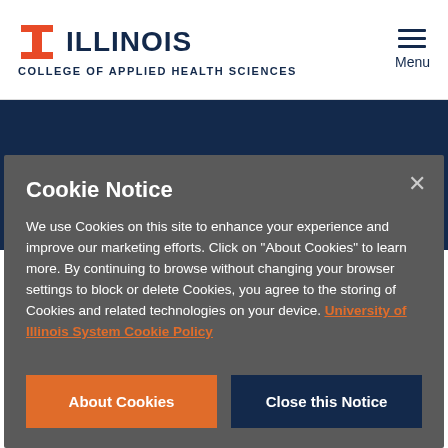[Figure (logo): University of Illinois I-mark logo in orange and blue, followed by ILLINOIS text and COLLEGE OF APPLIED HEALTH SCIENCES subtitle]
[Figure (other): Hamburger menu icon with three horizontal lines and Menu label]
SERVICE UNITS
Cookie Notice
We use Cookies on this site to enhance your experience and improve our marketing efforts. Click on "About Cookies" to learn more. By continuing to browse without changing your browser settings to block or delete Cookies, you agree to the storing of Cookies and related technologies on your device. University of Illinois System Cookie Policy
About Cookies
Close this Notice